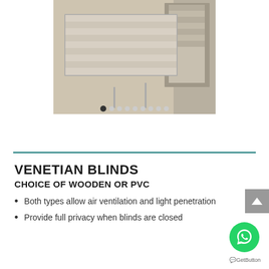[Figure (photo): Photo of venetian blinds installed on a window, showing slats and window frame in a beige room. Carousel dots visible below the image.]
VENETIAN BLINDS
CHOICE OF WOODEN OR PVC
Both types allow air ventilation and light penetration
Provide full privacy when blinds are closed